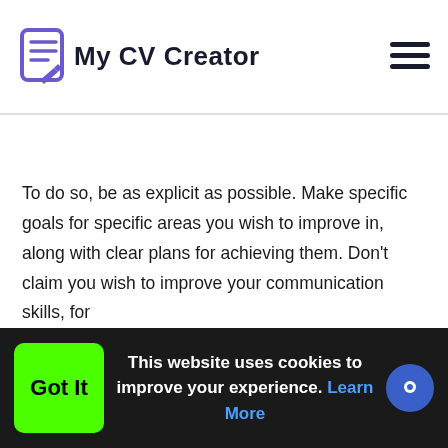My CV Creator
To do so, be as explicit as possible. Make specific goals for specific areas you wish to improve in, along with clear plans for achieving them. Don't claim you wish to improve your communication skills, for
This website uses cookies to improve your experience. Learn More